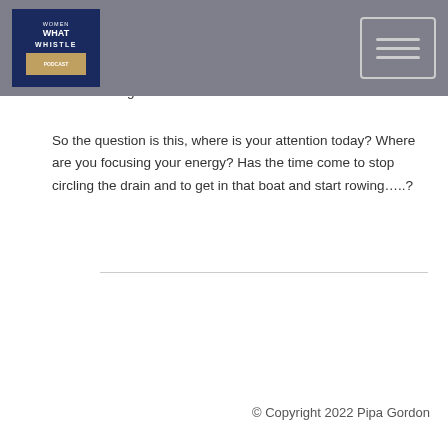Women What Whistles | Navigation menu
It's back to Leicester square last week, when you know where you are going, you head that way, but if you aren't focussed, you're constantly reacting to everything going on around you – its exhausting!
So the question is this, where is your attention today? Where are you focusing your energy? Has the time come to stop circling the drain and to get in that boat and start rowing…..?
© Copyright 2022 Pipa Gordon